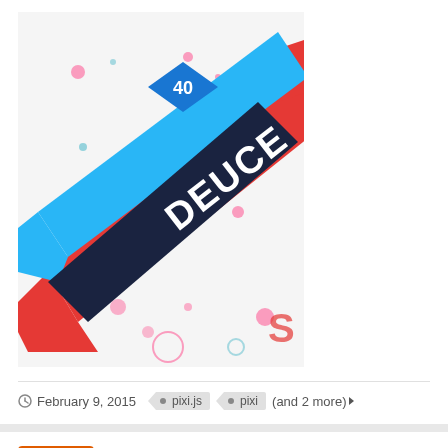[Figure (screenshot): Colorful graphic design image with blue and red diagonal ribbons, text DEUCE, diamond shapes with '40', circles, on white background]
February 9, 2015   pixi.js   pixi   (and 2 more)
[Figure (screenshot): User avatar for Jack with black background, orange border, showing a superhero figure]
Alfred
GreenSock posted a showcase in Showcase
[Figure (screenshot): Preview image with cyan/blue top bar and dark section with yellow gear/mechanical elements]